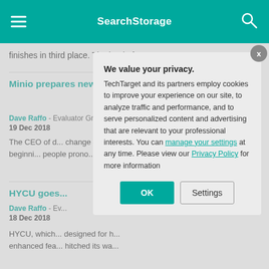SearchStorage
finishes in third place. The battle for ...
Minio prepares new object storage dish for 2019
Dave Raffo - Evaluator Group
19 Dec 2018
The CEO of d... change the w... 2019, beginni... people prono...
HYCU goes...
Dave Raffo - Ev...
18 Dec 2018
HYCU, which... designed for h... enhanced fea... hitched its wa...
We value your privacy.
TechTarget and its partners employ cookies to improve your experience on our site, to analyze traffic and performance, and to serve personalized content and advertising that are relevant to your professional interests. You can manage your settings at any time. Please view our Privacy Policy for more information